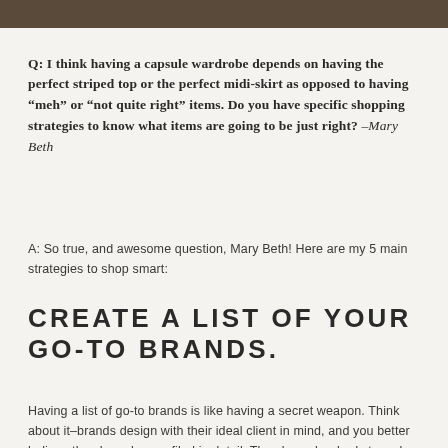[Figure (photo): Partial photo strip at the top of the page, dark brown/sepia toned.]
Q: I think having a capsule wardrobe depends on having the perfect striped top or the perfect midi-skirt as opposed to having “meh” or “not quite right” items. Do you have specific shopping strategies to know what items are going to be just right? –Mary Beth
A: So true, and awesome question, Mary Beth! Here are my 5 main strategies to shop smart:
CREATE A LIST OF YOUR GO-TO BRANDS.
Having a list of go-to brands is like having a secret weapon. Think about it–brands design with their ideal client in mind, and you better believe they have her profiled in detail. They know her body type, her